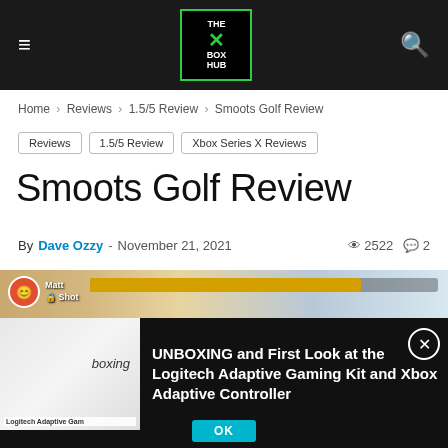THE XBOX HUB
Home > Reviews > 1.5/5 Review > Smoots Golf Review
Reviews | 1.5/5 Review | Xbox Series X Reviews
Smoots Golf Review
By Dave Ozzy - November 21, 2021  2522  2
[Figure (screenshot): In-game screenshot of Smoots Golf showing a desert golf course with a player HUD, power bar, avatar, and cactus scenery]
[Figure (screenshot): Video ad overlay showing Logitech Adaptive Gaming Kit controller photo with text: UNBOXING and First Look at the Logitech Adaptive Gaming Kit and Xbox Adaptive Controller]